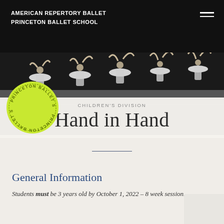American Repertory Ballet
Princeton Ballet School
[Figure (photo): Black and white photo of ballet dancers in white tutus, arms raised, performing on stage]
[Figure (logo): Princeton Ballet School circular stamp/seal logo in yellow-green color with text around the perimeter]
CHILDREN'S DIVISION
Hand in Hand
General Information
Students must be 3 years old by October 1, 2022 – 8 week session.